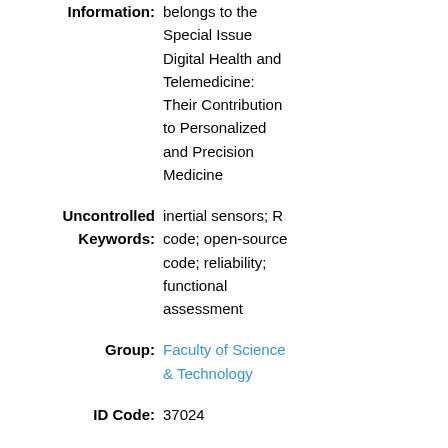Information: belongs to the Special Issue Digital Health and Telemedicine: Their Contribution to Personalized and Precision Medicine
Uncontrolled Keywords: inertial sensors; R code; open-source code; reliability; functional assessment
Group: Faculty of Science & Technology
ID Code: 37024
Deposited By: Symplectic RT2